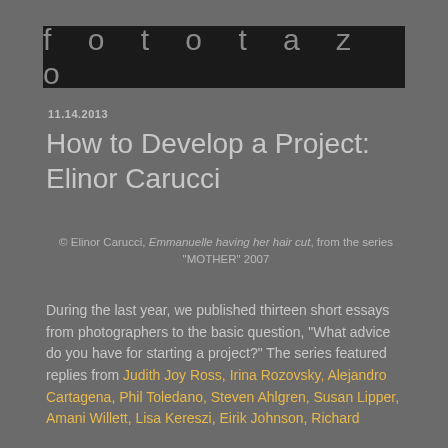fototazo
11.14.2013
How to Develop a Project: Elinor Carucci
© Elinor Carucci, Emmanuelle having her hair cut, from the series "MOTHER" 2007
During the last year, we published thirteen short essays from photographers to the basic question, "What advice do you have for starting a project?" The series featured replies from Judith Joy Ross, Irina Rozovsky, Alejandro Cartagena, Phil Toledano, Steven Ahlgren, Susan Lipper, Amani Willett, Lisa Kereszi, Eirik Johnson, Richard